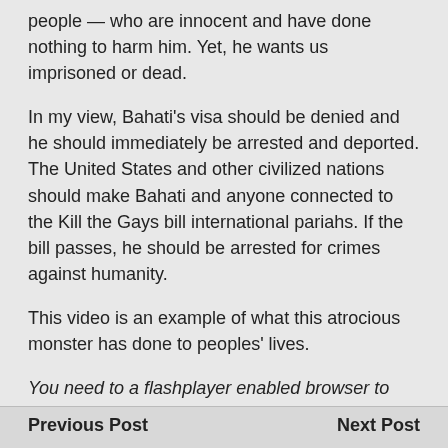people — who are innocent and have done nothing to harm him. Yet, he wants us imprisoned or dead.
In my view, Bahati's visa should be denied and he should immediately be arrested and deported. The United States and other civilized nations should make Bahati and anyone connected to the Kill the Gays bill international pariahs. If the bill passes, he should be arrested for crimes against humanity.
This video is an example of what this atrocious monster has done to peoples' lives.
You need to a flashplayer enabled browser to view this YouTube video
Previous Post    Next Post